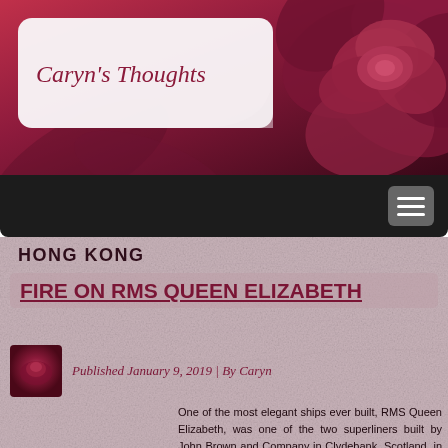Caryn's Thoughts
HONG KONG
FIRE ON RMS QUEEN ELIZABETH
Published January 9, 2019 | By Caryn
One of the most elegant ships ever built, RMS Queen Elizabeth, was one of the two superliners built by John Brown and Company in Clydebank, Scotland, in the 1930s. The ship did not start out as RMS Queen Elizabeth, but rather as Hull 552. Later, it was named in honor of Queen Elizabeth, and launched, on 27 September 1938. The RMS Queen Elizabeth was 1,031 feet long and 118.5 feet wide. It was the largest passenger liner ever constructed…